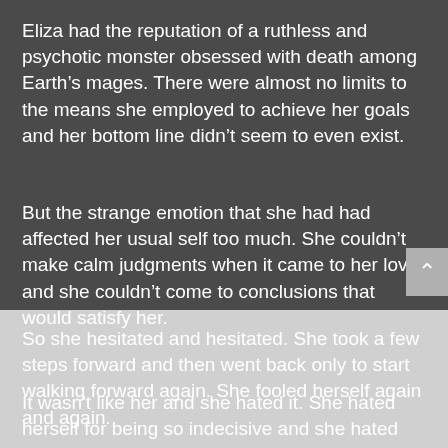Eliza had the reputation of a ruthless and psychotic monster obsessed with death among Earth’s mages. There were almost no limits to the means she employed to achieve her goals and her bottom line didn’t seem to even exist.
But the strange emotion that she had had affected her usual self too much. She couldn’t make calm judgments when it came to her love and she couldn’t come to conclusions that would satisfy her.
So she hesitated and hesitated. She took a few steps forward and then went back only to start walking forward again. She fooled herself again and again.
It wasn't like her and she hated it. She hated herself for being so indecisive and she hated Jeremy for putting her